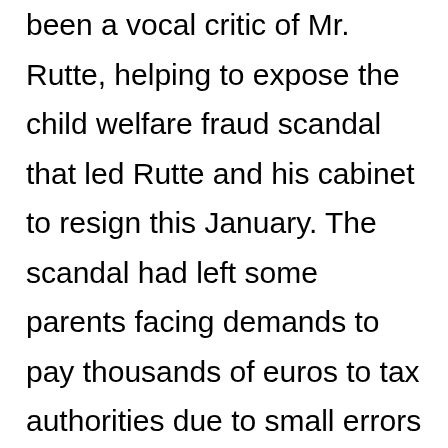been a vocal critic of Mr. Rutte, helping to expose the child welfare fraud scandal that led Rutte and his cabinet to resign this January. The scandal had left some parents facing demands to pay thousands of euros to tax authorities due to small errors such as missing signatures on paperwork. Despite the scandal, the VVD went on to gain a seat in the March election.